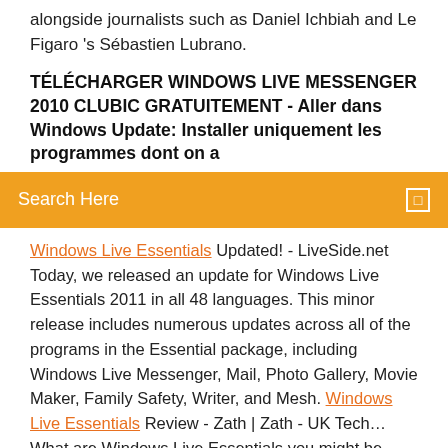alongside journalists such as Daniel Ichbiah and Le Figaro 's Sébastien Lubrano.
TÉLÉCHARGER WINDOWS LIVE MESSENGER 2010 CLUBIC GRATUITEMENT - Aller dans Windows Update: Installer uniquement les programmes dont on a
[Figure (screenshot): Orange search bar with 'Search Here' text and a small icon on the right]
Windows Live Essentials Updated! - LiveSide.net Today, we released an update for Windows Live Essentials 2011 in all 48 languages. This minor release includes numerous updates across all of the programs in the Essential package, including Windows Live Messenger, Mail, Photo Gallery, Movie Maker, Family Safety, Writer, and Mesh. Windows Live Essentials Review - Zath | Zath - UK Tech… What are Windows Live Essentials you might be asking? Well with the recent launch of Windows 7, we can see that Microsoft has really done manyWhen you download Windows Live Essentials, you won't